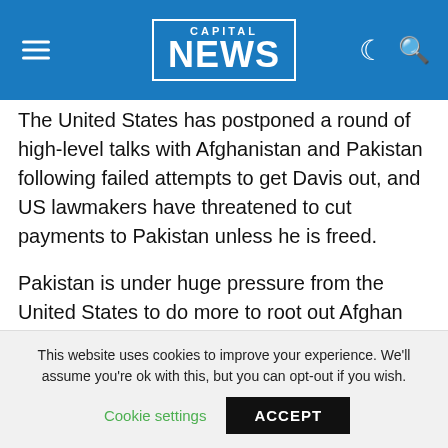CAPITAL NEWS
The United States has postponed a round of high-level talks with Afghanistan and Pakistan following failed attempts to get Davis out, and US lawmakers have threatened to cut payments to Pakistan unless he is freed.
Pakistan is under huge pressure from the United States to do more to root out Afghan Taliban and Al-Qaeda-linked militants from its northwestern region, which borders Afghanistan.
Islamabad denies persistent Western claims that its intelligence services still collude with Islamist fighters killing US forces in Afghanistan.
This website uses cookies to improve your experience. We'll assume you're ok with this, but you can opt-out if you wish.
Cookie settings   ACCEPT